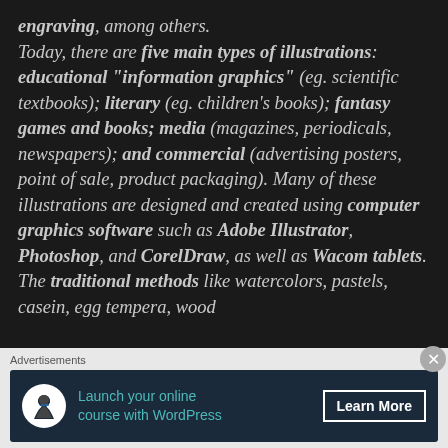engraving, among others.

Today, there are five main types of illustrations: educational "information graphics" (eg. scientific textbooks); literary (eg. children's books); fantasy games and books; media (magazines, periodicals, newspapers); and commercial (advertising posters, point of sale, product packaging). Many of these illustrations are designed and created using computer graphics software such as Adobe Illustrator, Photoshop, and CorelDraw, as well as Wacom tablets. The traditional methods like watercolors, pastels, casein, egg tempera, wood
Advertisements
[Figure (other): Advertisement banner: Launch your online course with WordPress — Learn More button, dark navy background with teal icon]